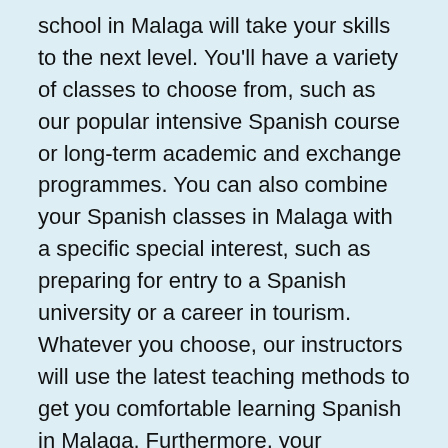school in Malaga will take your skills to the next level. You'll have a variety of classes to choose from, such as our popular intensive Spanish course or long-term academic and exchange programmes. You can also combine your Spanish classes in Malaga with a specific special interest, such as preparing for entry to a Spanish university or a career in tourism. Whatever you choose, our instructors will use the latest teaching methods to get you comfortable learning Spanish in Malaga. Furthermore, your progress will surprise you when you attend our Spanish language school in Malaga.
Study Spanish in Malaga
You'll enjoy all the benefits of living on the Mediterranean Coast when you learn Spanish in Malaga. With warm winters and hot summers, you'll be